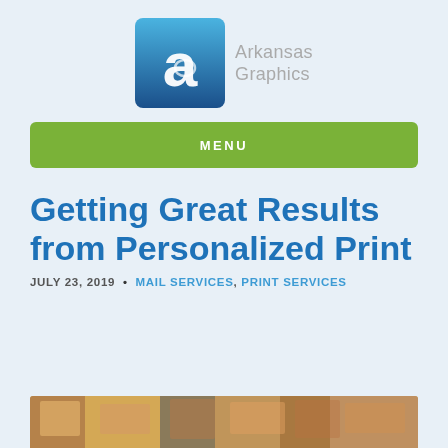[Figure (logo): Arkansas Graphics logo: blue gradient square icon with stylized 'a' letter, followed by text 'Arkansas Graphics' in gray]
MENU
Getting Great Results from Personalized Print
JULY 23, 2019 • MAIL SERVICES, PRINT SERVICES
[Figure (photo): Partial view of a photo at the bottom of the page showing colorful printed materials]